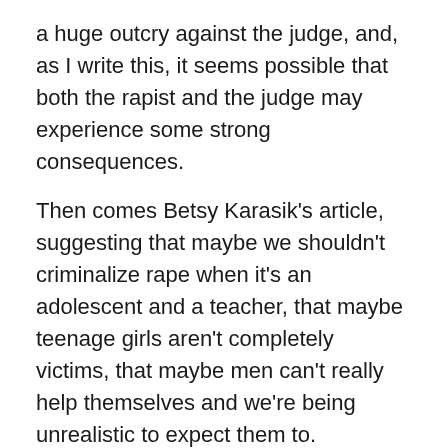a huge outcry against the judge, and, as I write this, it seems possible that both the rapist and the judge may experience some strong consequences.
Then comes Betsy Karasik's article, suggesting that maybe we shouldn't criminalize rape when it's an adolescent and a teacher, that maybe teenage girls aren't completely victims, that maybe men can't really help themselves and we're being unrealistic to expect them to.
Let me be perfectly clear.  I do not agree with her.  Do NOT agree.  Do NOT AGREE.  DO NOT AGREE with her.
Background.  I'm a therapist – mental health – and I work primarily with people who have experienced abuse, particularly sexual abuse.    One in four, or maybe one in three, women experience some kind of sexual assault or